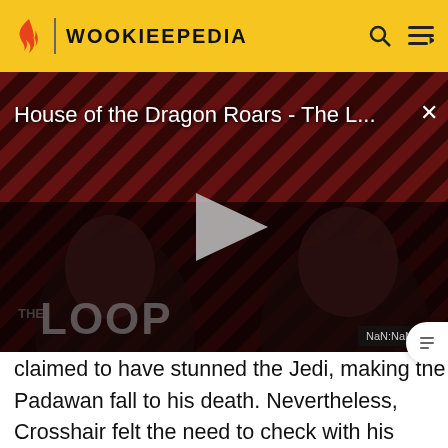WOOKIEEPEDIA
[Figure (screenshot): Video player showing 'House of the Dragon Roars - The L...' with a play button in the center, diagonal red/dark stripe background, two figures visible in dark lighting, 'THE LOOP' text at bottom left, 'NaN:NaN' timestamp badge at bottom right, and an X close button at top right.]
claimed to have stunned the Jedi, making the Padawan fall to his death. Nevertheless, Crosshair felt the need to check with his rangefinder, departing as three regular clones arrived to the scene.[2]